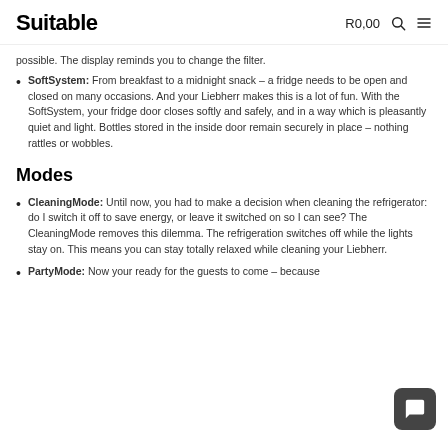Suitable  R0,00
possible. The display reminds you to change the filter.
SoftSystem: From breakfast to a midnight snack – a fridge needs to be open and closed on many occasions. And your Liebherr makes this is a lot of fun. With the SoftSystem, your fridge door closes softly and safely, and in a way which is pleasantly quiet and light. Bottles stored in the inside door remain securely in place – nothing rattles or wobbles.
Modes
CleaningMode: Until now, you had to make a decision when cleaning the refrigerator: do I switch it off to save energy, or leave it switched on so I can see? The CleaningMode removes this dilemma. The refrigeration switches off while the lights stay on. This means you can stay totally relaxed while cleaning your Liebherr.
PartyMode: Now your ready for the guests to come – because